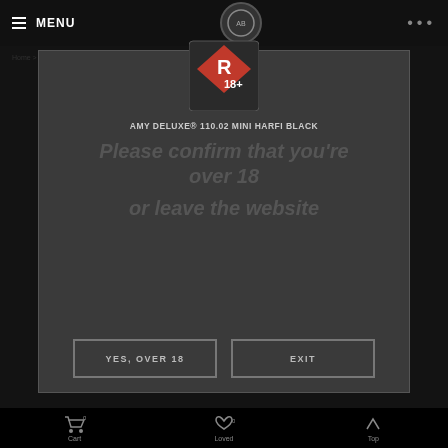MENU | [logo] | ...
Home > Shishas / Hookahs > ... > 110.02 Mini Harfi > Amy Deluxe® 110.02 Mini Harfi Black
[Figure (logo): R18+ rating badge — red diamond shape with R 18+ text]
AMY DELUXE® 110.02 MINI HARFI BLACK
Please confirm that you're over 18 or leave the website
YES, OVER 18
EXIT
Cart 0 | Loved 0 | Top